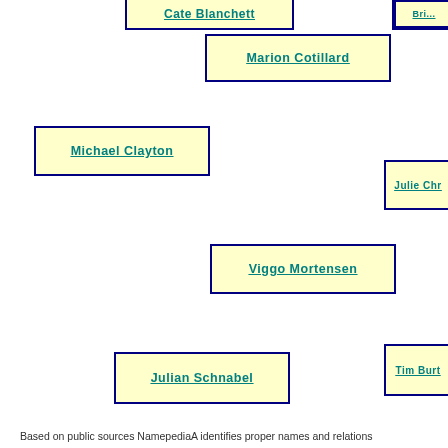[Figure (network-graph): Network/relationship graph showing names (Cate Blanchett, Marion Cotillard, Michael Clayton, Julie Chr[istie], Viggo Mortensen, Tim Bur[ton], Julian Schnabel, Joel Coen) as yellow nodes and London as a blue node, partially visible, on white background.]
Based on public sources NamepediaA identifies proper names and relations